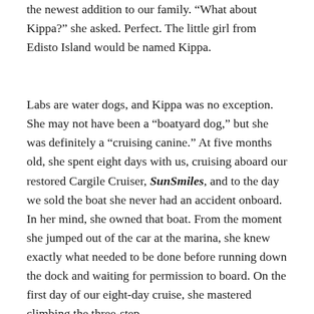the newest addition to our family. “What about Kippa?” she asked. Perfect. The little girl from Edisto Island would be named Kippa.
Labs are water dogs, and Kippa was no exception. She may not have been a “boatyard dog,” but she was definitely a “cruising canine.” At five months old, she spent eight days with us, cruising aboard our restored Cargile Cruiser, SunSmiles, and to the day we sold the boat she never had an accident onboard. In her mind, she owned that boat. From the moment she jumped out of the car at the marina, she knew exactly what needed to be done before running down the dock and waiting for permission to board. On the first day of our eight-day cruise, she mastered climbing the three-step